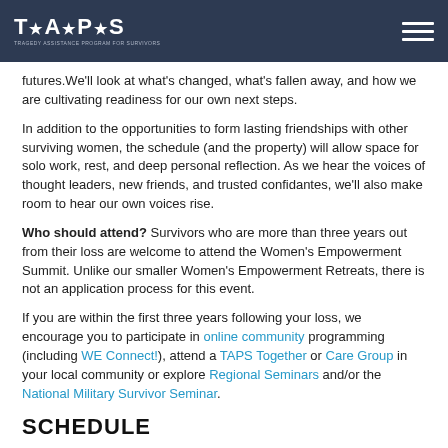TAPS logo and navigation header
futures.We'll look at what's changed, what's fallen away, and how we are cultivating readiness for our own next steps.
In addition to the opportunities to form lasting friendships with other surviving women, the schedule (and the property) will allow space for solo work, rest, and deep personal reflection. As we hear the voices of thought leaders, new friends, and trusted confidantes, we'll also make room to hear our own voices rise.
Who should attend? Survivors who are more than three years out from their loss are welcome to attend the Women's Empowerment Summit. Unlike our smaller Women's Empowerment Retreats, there is not an application process for this event.
If you are within the first three years following your loss, we encourage you to participate in online community programming (including WE Connect!), attend a TAPS Together or Care Group in your local community or explore Regional Seminars and/or the National Military Survivor Seminar.
SCHEDULE